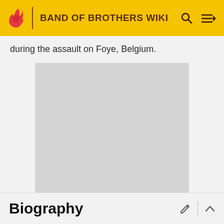BAND OF BROTHERS WIKI
during the assault on Foye, Belgium.
[Figure (other): Advertisement placeholder - grey rectangle]
ADVERTISEMENT
Biography